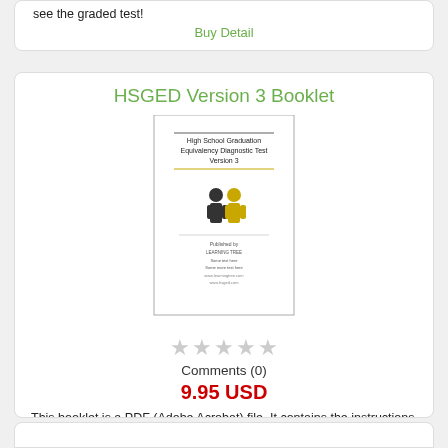see the graded test!
Buy Detail
HSGED Version 3 Booklet
[Figure (illustration): Thumbnail image of HSGED Version 3 Booklet cover showing 'High School Graduation Equivalency Diagnostic Test Version 3' with small figure icons and additional text]
Comments (0)
9.95 USD
This booklet is a PDF (Adobe Acrobat) file. It contains the instructions and test questions. It contains everything your child will need to take the test.
Buy Detail